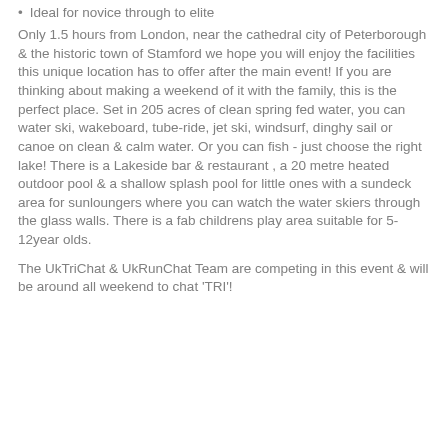Ideal for novice through to elite
Only 1.5 hours from London, near the cathedral city of Peterborough & the historic town of Stamford we hope you will enjoy the facilities this unique location has to offer after the main event! If you are thinking about making a weekend of it with the family, this is the perfect place. Set in 205 acres of clean spring fed water, you can water ski, wakeboard, tube-ride, jet ski, windsurf, dinghy sail or canoe on clean & calm water. Or you can fish - just choose the right lake! There is a Lakeside bar & restaurant , a 20 metre heated outdoor pool & a shallow splash pool for little ones with a sundeck area for sunloungers where you can watch the water skiers through the glass walls. There is a fab childrens play area suitable for 5-12year olds.
The UkTriChat & UkRunChat Team are competing in this event & will be around all weekend to chat 'TRI'!